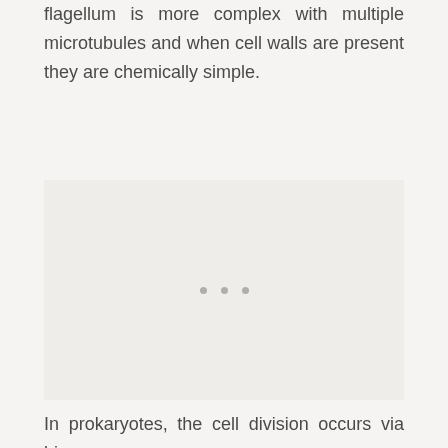flagellum is more complex with multiple microtubules and when cell walls are present they are chemically simple.
[Figure (other): A light gray rectangular image placeholder area with three small dots centered within it.]
In prokaryotes, the cell division occurs via binary